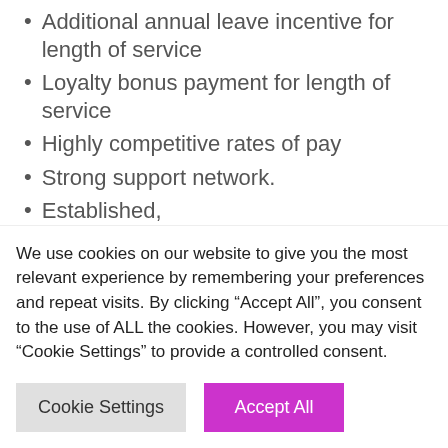Additional annual leave incentive for length of service
Loyalty bonus payment for length of service
Highly competitive rates of pay
Strong support network.
Established,
We use cookies on our website to give you the most relevant experience by remembering your preferences and repeat visits. By clicking “Accept All”, you consent to the use of ALL the cookies. However, you may visit “Cookie Settings” to provide a controlled consent.
Cookie Settings | Accept All